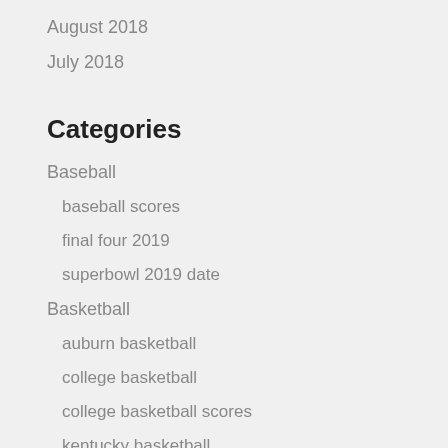August 2018
July 2018
Categories
Baseball
baseball scores
final four 2019
superbowl 2019 date
Basketball
auburn basketball
college basketball
college basketball scores
kentucky basketball